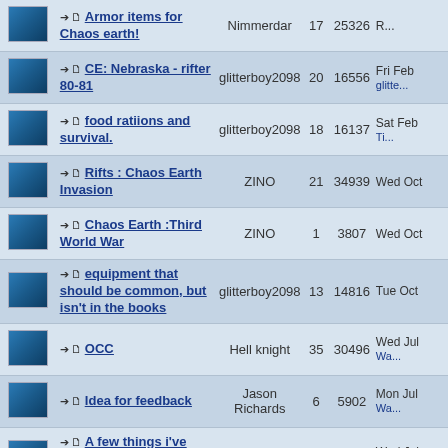| Icon | Topic | Author | Replies | Views | Last Post |
| --- | --- | --- | --- | --- | --- |
|  | Armor items for Chaos earth! |  | 17 | 25326 | R... |
|  | CE: Nebraska - rifter 80-81 | glitterboy2098 | 20 | 16556 | Fri Feb ... glitte... |
|  | food ratiions and survival. | glitterboy2098 | 18 | 16137 | Sat Feb ... Ti... |
|  | Rifts : Chaos Earth Invasion | ZINO | 21 | 34939 | Wed Oct ... |
|  | Chaos Earth :Third World War | ZINO | 1 | 3807 | Wed Oct ... |
|  | equipment that should be common, but isn't in the books | glitterboy2098 | 13 | 14816 | Tue Oct ... |
|  | OCC | Hell knight | 35 | 30496 | Wed Jul ... Wa... |
|  | Idea for feedback | Jason Richards | 6 | 5902 | Mon Jul ... Wa... |
|  | A few things i've learned in researching for a CE game | glitterboy2098 | 36 | 34448 | Wed Jul ... k... |
|  | Sleeping Army OCC question | RockJock | 6 | 7726 | Wed May ... R... |
|  | Riftless: Ordered Earth | dataweaver | 11 | 12217 | Fri May ... Z... |
|  | What do you want in CE:Psychic storm? | gaby | 8 | 9901 | Fri May ... dat... |
|  | Create spells | Thom001 | 2 | 4696 | Mon Jan ... |